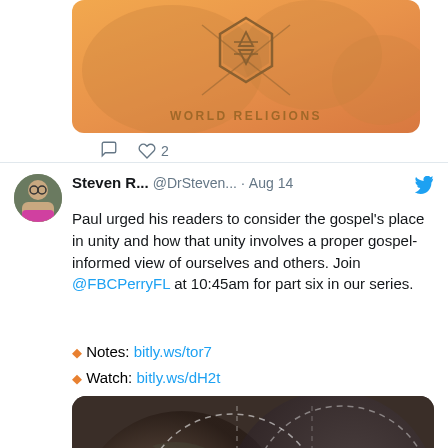[Figure (illustration): World Religions banner image with orange/tan background, hexagon with Star of David, world map silhouette, text 'WORLD RELIGIONS']
◯  ♡ 2
Steven R... @DrSteven... · Aug 14
Paul urged his readers to consider the gospel's place in unity and how that unity involves a proper gospel-informed view of ourselves and others. Join @FBCPerryFL at 10:45am for part six in our series.
Notes: bitly.ws/tor7
Watch: bitly.ws/dH2t
[Figure (photo): Philippians Partners in the Gospel banner image with globe/earth background and overlapping circle dashed outlines]